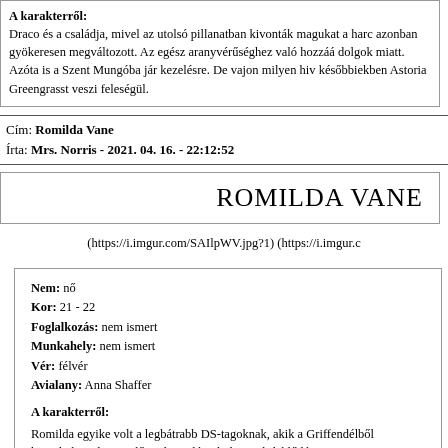A karakterről: Draco és a családja, mivel az utolsó pillanatban kivonták magukat a harc... azonban gyökeresen megváltozott. Az egész aranyvérűséghez való hozzáá... dolgok miatt. Azóta is a Szent Mungóba jár kezelésre. De vajon milyen hiv... későbbiekben Astoria Greengrasst veszi feleségül.
Cím: Romilda Vane
Írta: Mrs. Norris - 2021. 04. 16. - 22:12:52
ROMILDA VANE
(https://i.imgur.com/SAIlpWV.jpg?1) (https://i.imgur.c...
Nem: nő
Kor: 21 - 22
Foglalkozás: nem ismert
Munkahely: nem ismert
Vér: félvér
Avialany: Anna Shaffer

A karakterről:
Romilda egyike volt a legbátrabb DS-tagoknak, akik a Griffendélből harcoltak. Volt egy idő, mikor a lány különös érdeklődést mutatott Harry i...